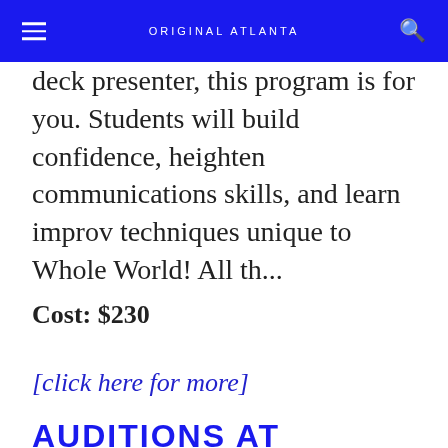ORIGINAL ATLANTA
deck presenter, this program is for you. Students will build confidence, heighten communications skills, and learn improv techniques unique to Whole World! All th...
Cost: $230
[click here for more]
AUDITIONS AT WHOLE